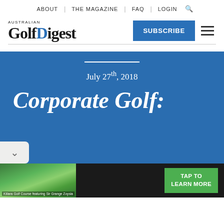ABOUT | THE MAGAZINE | FAQ | LOGIN
[Figure (logo): Australian Golf Digest logo with blue dot on the 'i' in Golf]
SUBSCRIBE
July 27th, 2018
Corporate Golf:
[Figure (photo): Advertisement banner: Killara Golf Course featuring Sir Grange Zoysia with TAP TO LEARN MORE button]